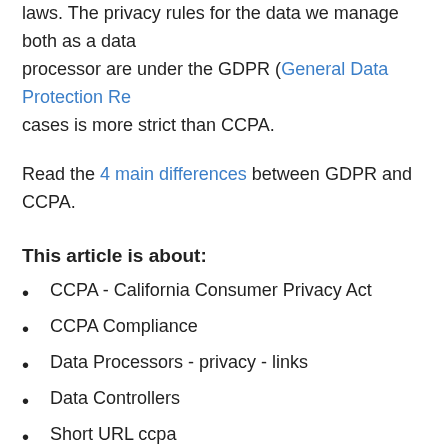laws. The privacy rules for the data we manage both as a data processor are under the GDPR (General Data Protection Re... cases is more strict than CCPA.
Read the 4 main differences between GDPR and CCPA.
This article is about:
CCPA - California Consumer Privacy Act
CCPA Compliance
Data Processors - privacy - links
Data Controllers
Short URL ccpa
Bitly ccpa
Privacy Rebrandly
Short URLs privacy
Branded links